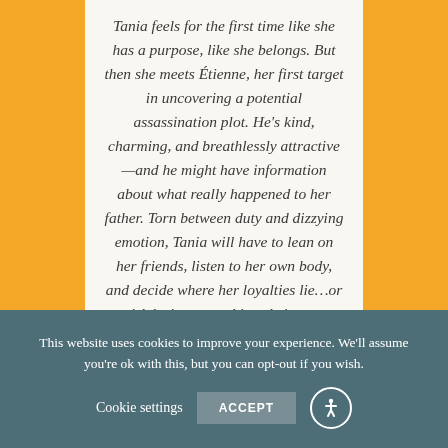Tania feels for the first time like she has a purpose, like she belongs. But then she meets Étienne, her first target in uncovering a potential assassination plot. He's kind, charming, and breathlessly attractive—and he might have information about what really happened to her father. Torn between duty and dizzying emotion, Tania will have to lean on her friends, listen to her own body, and decide where her loyalties lie...or risk losing everything she's ever wanted.
This website uses cookies to improve your experience. We'll assume you're ok with this, but you can opt-out if you wish.
Cookie settings  ACCEPT